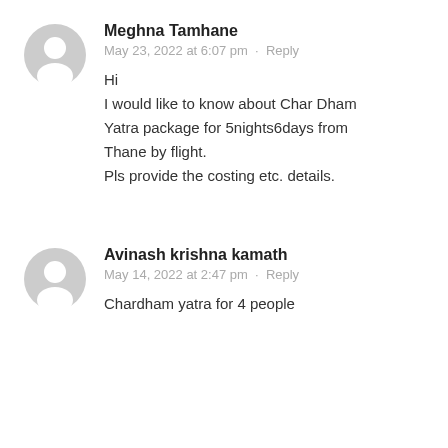[Figure (illustration): Gray user avatar icon (circle with person silhouette) for Meghna Tamhane]
Meghna Tamhane
May 23, 2022 at 6:07 pm · Reply
Hi
I would like to know about Char Dham Yatra package for 5nights6days from Thane by flight.
Pls provide the costing etc. details.
[Figure (illustration): Gray user avatar icon (circle with person silhouette) for Avinash krishna kamath]
Avinash krishna kamath
May 14, 2022 at 2:47 pm · Reply
Chardham yatra for 4 people